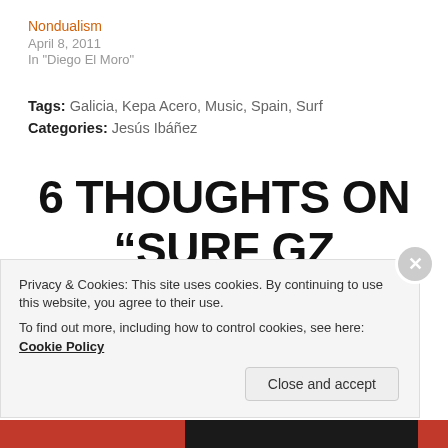Nondualism
April 8, 2011
In "Diego El Moro"
Tags: Galicia, Kepa Acero, Music, Spain, Surf
Categories: Jesús Ibáñez
6 THOUGHTS ON “SURF GZ (ENGLISH)”
Privacy & Cookies: This site uses cookies. By continuing to use this website, you agree to their use.
To find out more, including how to control cookies, see here: Cookie Policy
Close and accept